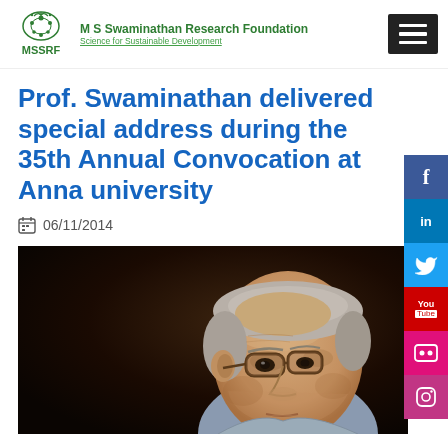M S Swaminathan Research Foundation — Science for Sustainable Development
Prof. Swaminathan delivered special address during the 35th Annual Convocation at Anna university
06/11/2014
[Figure (photo): Close-up profile photo of Prof. Swaminathan, an elderly man with grey hair and glasses, photographed from the side, dark background]